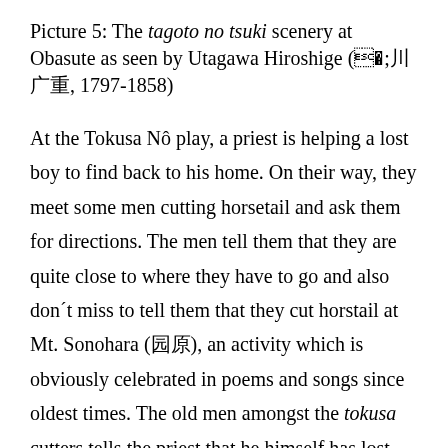Picture 5: The tagoto no tsuki scenery at Obasute as seen by Utagawa Hiroshige (歌川広重, 1797-1858)
At the Tokusa Nô play, a priest is helping a lost boy to find back to his home. On their way, they meet some men cutting horsetail and ask them for directions. The men tell them that they are quite close to where they have to go and also don´t miss to tell them that they cut horstail at Mt. Sonohara (園原), an activity which is obviously celebrated in poems and songs since oldest times. The old men amongst the tokusa cutters tells the priest that he himself has lost his boy and when they spend the night at his house, it turns out that the boy found by the priest and the old boy are of the same